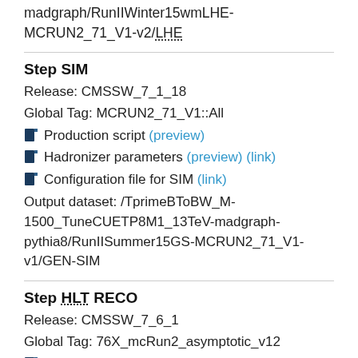madgraph/RunIIWinter15wmLHE-MCRUN2_71_V1-v2/LHE
Step SIM
Release: CMSSW_7_1_18
Global Tag: MCRUN2_71_V1::All
Production script (preview)
Hadronizer parameters (preview) (link)
Configuration file for SIM (link)
Output dataset: /TprimeBToBW_M-1500_TuneCUETP8M1_13TeV-madgraph-pythia8/RunIISummer15GS-MCRUN2_71_V1-v1/GEN-SIM
Step HLT RECO
Release: CMSSW_7_6_1
Global Tag: 76X_mcRun2_asymptotic_v12
Production script (preview)